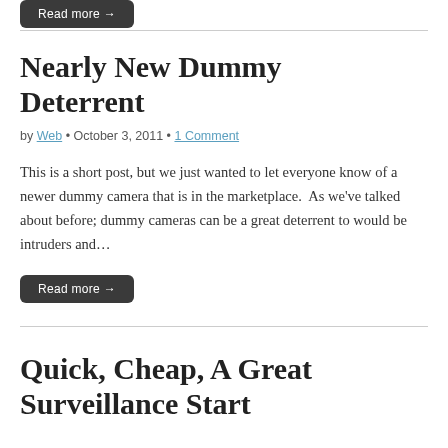[Figure (other): Dark rounded 'Read more →' button at top of page (partially cropped)]
Nearly New Dummy Deterrent
by Web • October 3, 2011 • 1 Comment
This is a short post, but we just wanted to let everyone know of a newer dummy camera that is in the marketplace.  As we've talked about before; dummy cameras can be a great deterrent to would be intruders and…
[Figure (other): Dark rounded 'Read more →' button]
Quick, Cheap, A Great Surveillance Start